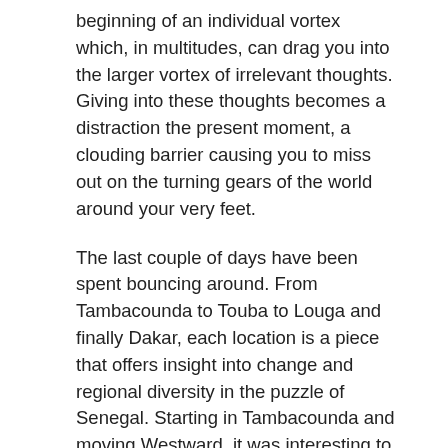beginning of an individual vortex which, in multitudes, can drag you into the larger vortex of irrelevant thoughts. Giving into these thoughts becomes a distraction the present moment, a clouding barrier causing you to miss out on the turning gears of the world around your very feet.
The last couple of days have been spent bouncing around. From Tambacounda to Touba to Louga and finally Dakar, each location is a piece that offers insight into change and regional diversity in the puzzle of Senegal. Starting in Tambacounda and moving Westward, it was interesting to see the progression. A more typical portrayal of Africa is what we saw as we cruised out of Tambacounda towards our next destination – vast, flat, expanses. A sea of dirt and sand, dotted with Baobob trees and populated by families of goats and cows led by their human guides. Scattered villages and rows of stone